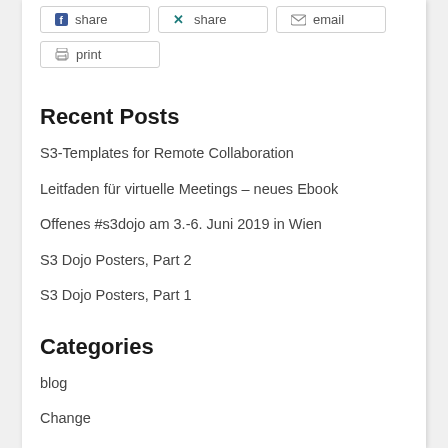[Figure (other): Social share buttons row: Facebook share, Xing share, email buttons]
[Figure (other): Print button]
Recent Posts
S3-Templates for Remote Collaboration
Leitfaden für virtuelle Meetings – neues Ebook
Offenes #s3dojo am 3.-6. Juni 2019 in Wien
S3 Dojo Posters, Part 2
S3 Dojo Posters, Part 1
Categories
blog
Change
distributed organizations